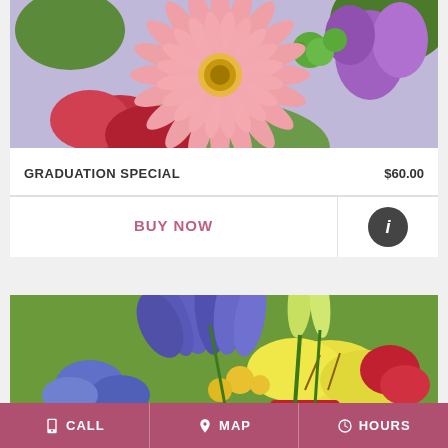[Figure (photo): Close-up photo of a colorful flower bouquet featuring a large pink gerbera daisy in the center, green chrysanthemums, red carnations, and purple lisianthus flowers]
GRADUATION SPECIAL   $60.00
BUY NOW
[Figure (illustration): Info button - dark circle with white lowercase i]
[Figure (photo): Flower bouquet with yellow lilies, purple irises, yellow button flowers, red flowers, in a red vase]
CALL   MAP   HOURS